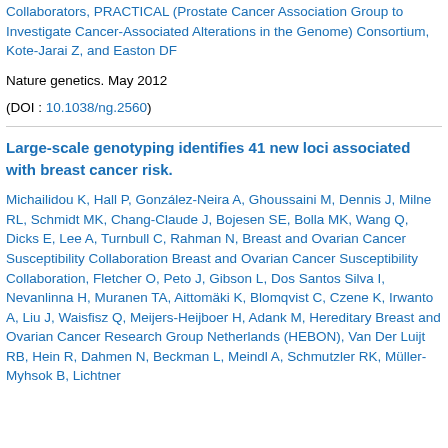Collaborators, PRACTICAL (Prostate Cancer Association Group to Investigate Cancer-Associated Alterations in the Genome) Consortium, Kote-Jarai Z, and Easton DF
Nature genetics. May 2012
(DOI : 10.1038/ng.2560)
Large-scale genotyping identifies 41 new loci associated with breast cancer risk.
Michailidou K, Hall P, González-Neira A, Ghoussaini M, Dennis J, Milne RL, Schmidt MK, Chang-Claude J, Bojesen SE, Bolla MK, Wang Q, Dicks E, Lee A, Turnbull C, Rahman N, Breast and Ovarian Cancer Susceptibility Collaboration Breast and Ovarian Cancer Susceptibility Collaboration, Fletcher O, Peto J, Gibson L, Dos Santos Silva I, Nevanlinna H, Muranen TA, Aittomäki K, Blomqvist C, Czene K, Irwanto A, Liu J, Waisfisz Q, Meijers-Heijboer H, Adank M, Hereditary Breast and Ovarian Cancer Research Group Netherlands (HEBON), Van Der Luijt RB, Hein R, Dahmen N, Beckman L, Meindl A, Schmutzler RK, Müller-Myhsok B, Lichtner